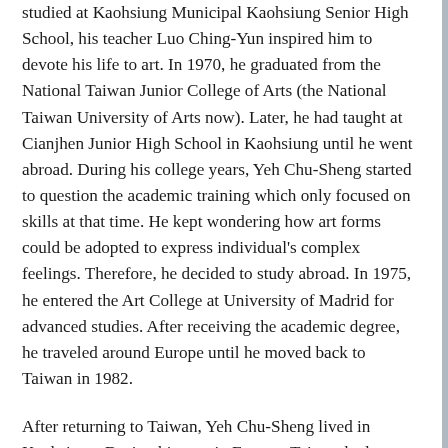studied at Kaohsiung Municipal Kaohsiung Senior High School, his teacher Luo Ching-Yun inspired him to devote his life to art. In 1970, he graduated from the National Taiwan Junior College of Arts (the National Taiwan University of Arts now). Later, he had taught at Cianjhen Junior High School in Kaohsiung until he went abroad. During his college years, Yeh Chu-Sheng started to question the academic training which only focused on skills at that time. He kept wondering how art forms could be adopted to express individual's complex feelings. Therefore, he decided to study abroad. In 1975, he entered the Art College at University of Madrid for advanced studies. After receiving the academic degree, he traveled around Europe until he moved back to Taiwan in 1982.
After returning to Taiwan, Yeh Chu-Sheng lived in Kaohsiung. During his stay in Europe, Taiwan had experienced a rapid development in construction, especially Kaohsiung as an industrial city. The artist who had just moved back to Taiwan thus felt a strong shock. Therefore, he started to use the remained objects being deserted or destroyed by men as his materials, rearranging these objects in paintings or spaces as his charge against show human beings had brought a disaster to nature. Most of his works